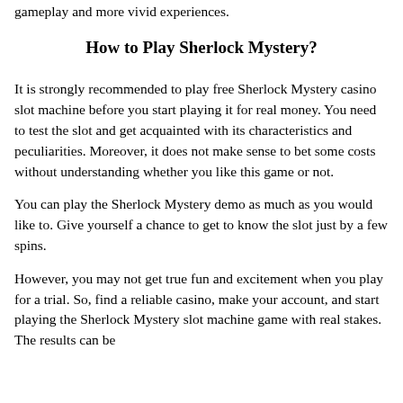gameplay and more vivid experiences.
How to Play Sherlock Mystery?
It is strongly recommended to play free Sherlock Mystery casino slot machine before you start playing it for real money. You need to test the slot and get acquainted with its characteristics and peculiarities. Moreover, it does not make sense to bet some costs without understanding whether you like this game or not.
You can play the Sherlock Mystery demo as much as you would like to. Give yourself a chance to get to know the slot just by a few spins.
However, you may not get true fun and excitement when you play for a trial. So, find a reliable casino, make your account, and start playing the Sherlock Mystery slot machine game with real stakes. The results can be